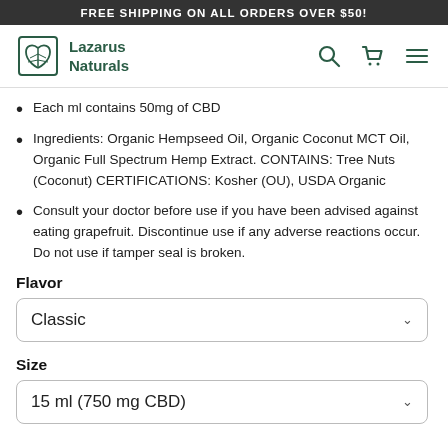FREE SHIPPING ON ALL ORDERS OVER $50!
[Figure (logo): Lazarus Naturals logo with leaf/plant icon in teal/green and brand name text]
Each ml contains 50mg of CBD
Ingredients: Organic Hempseed Oil, Organic Coconut MCT Oil, Organic Full Spectrum Hemp Extract. CONTAINS: Tree Nuts (Coconut) CERTIFICATIONS: Kosher (OU), USDA Organic
Consult your doctor before use if you have been advised against eating grapefruit. Discontinue use if any adverse reactions occur. Do not use if tamper seal is broken.
Flavor
Classic
Size
15 ml (750 mg CBD)